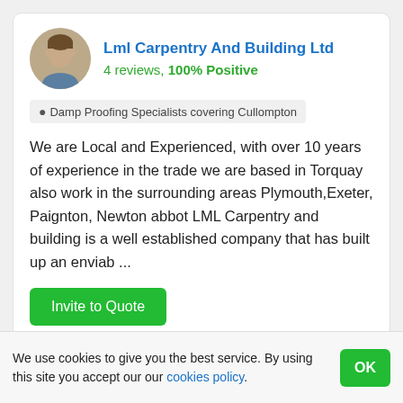Lml Carpentry And Building Ltd
4 reviews, 100% Positive
Damp Proofing Specialists covering Cullompton
We are Local and Experienced, with over 10 years of experience in the trade we are based in Torquay also work in the surrounding areas Plymouth,Exeter, Paignton, Newton abbot LML Carpentry and building is a well established company that has built up an enviab ...
Invite to Quote
We use cookies to give you the best service. By using this site you accept our our cookies policy.